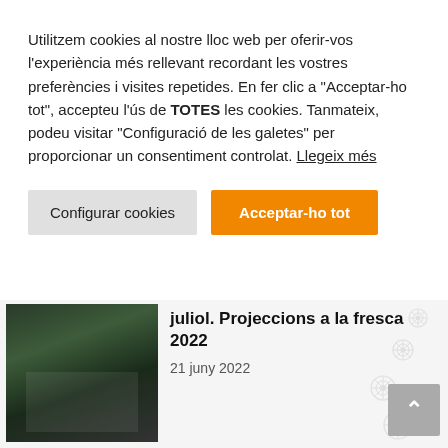Utilitzem cookies al nostre lloc web per oferir-vos l'experiència més rellevant recordant les vostres preferències i visites repetides. En fer clic a "Acceptar-ho tot", accepteu l'ús de TOTES les cookies. Tanmateix, podeu visitar "Configuració de les galetes" per proporcionar un consentiment controlat. Llegeix més
Configurar cookies
Acceptar-ho tot
[Figure (photo): Outdoor cinema projection event at night with chairs and trees]
juliol. Projeccions a la fresca 2022
21 juny 2022
[Figure (photo): Nature/forest path scene]
2 de juliol. La ruta dels Carboners d'Osor